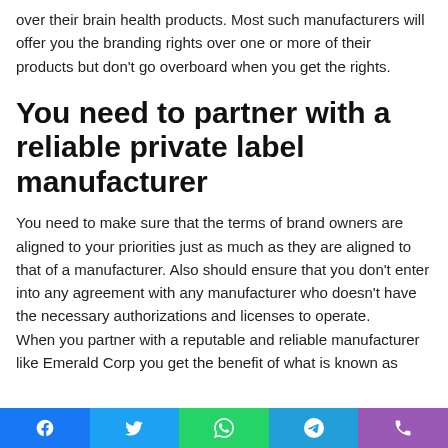over their brain health products. Most such manufacturers will offer you the branding rights over one or more of their products but don't go overboard when you get the rights.
You need to partner with a reliable private label manufacturer
You need to make sure that the terms of brand owners are aligned to your priorities just as much as they are aligned to that of a manufacturer. Also should ensure that you don't enter into any agreement with any manufacturer who doesn't have the necessary authorizations and licenses to operate. When you partner with a reputable and reliable manufacturer like Emerald Corp you get the benefit of what is known as
Social share bar: Facebook, Twitter, WhatsApp, Telegram, Phone